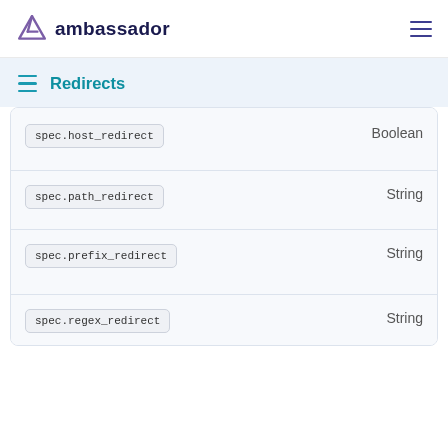ambassador
Redirects
| Field | Type |
| --- | --- |
| spec.host_redirect | Boolean |
| spec.path_redirect | String |
| spec.prefix_redirect | String |
| spec.regex_redirect | String |